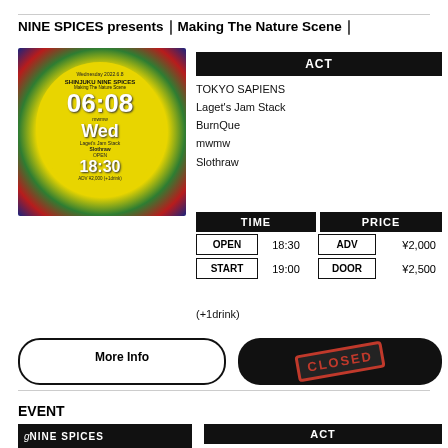NINE SPICES presents｜Making The Nature Scene｜
[Figure (photo): Event flyer image showing a yellow circle on a colorful background with text: Wednesday 2022.6.8, SHINJUKU NINE SPICES, Making The Nature Scene, 06:08, mwmw, Laget's Jam Stack, Slothraw, Wed, OPEN 18:30, ADV ¥2,000, (+1drink)]
TOKYO SAPIENS
Laget's Jam Stack
BurnQue
mwmw
Slothraw
| TIME | PRICE |
| --- | --- |
| OPEN  18:30 | ADV  ¥2,000 |
| START  19:00 | DOOR  ¥2,500 |
(+1drink)
More Info
CLOSED
EVENT
[Figure (logo): NINE SPICES logo in white on black background]
ACT